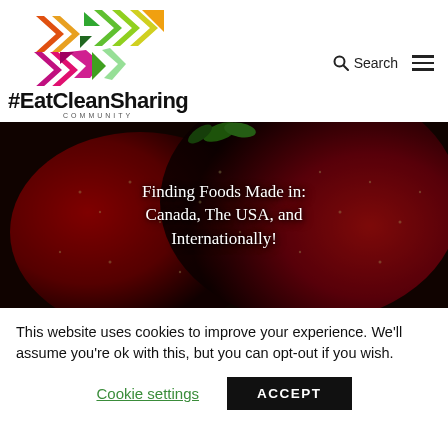[Figure (logo): EatCleanSharing Community logo with colorful arrow/chevron shapes in orange, yellow, green, pink, and magenta]
#EatCleanSharing
COMMUNITY
[Figure (photo): Close-up photo of red strawberries on a dark stone surface with overlay text: Finding Foods Made in: Canada, The USA, and Internationally!]
This website uses cookies to improve your experience. We'll assume you're ok with this, but you can opt-out if you wish.
Cookie settings
ACCEPT